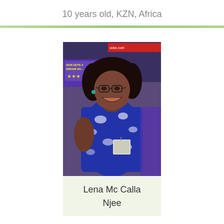10 years old, KZN, Africa
[Figure (photo): Portrait photo of Lena Mc Calla Njee, a woman wearing glasses and a blue floral patterned top, smiling, with book fair/publishing display visible in the background]
Lena Mc Calla Njee
““